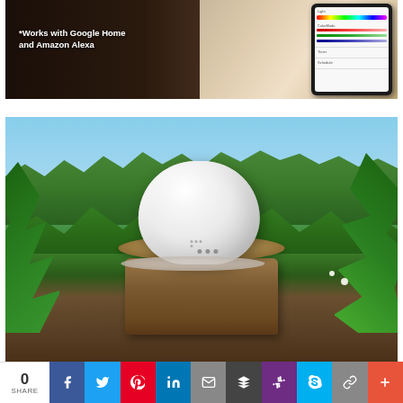[Figure (photo): Smartphone displaying a smart home app UI with color sliders for Light control, with text overlay reading '*Works with Google Home and Amazon Alexa' on a dark background]
*Works with Google Home and Amazon Alexa
[Figure (photo): White spherical smart home device (resembling a ball/helmet shape) sitting on a tree stump in a lush green outdoor setting with plants and blue sky]
[Figure (infographic): Social share bar with 0 shares count and buttons for Facebook, Twitter, Pinterest, LinkedIn, Email, Buffer, Slack, Skype, Copy link, and More]